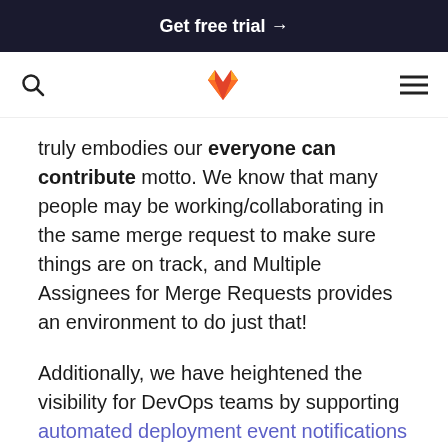Get free trial →
[Figure (logo): GitLab fox logo in orange and red, with search icon on left and hamburger menu on right]
truly embodies our everyone can contribute motto. We know that many people may be working/collaborating in the same merge request to make sure things are on track, and Multiple Assignees for Merge Requests provides an environment to do just that!
Additionally, we have heightened the visibility for DevOps teams by supporting automated deployment event notifications for Slack and Mattermost. Adding to the list of push events for these two collaborative environments allows a notification to kick off near real-